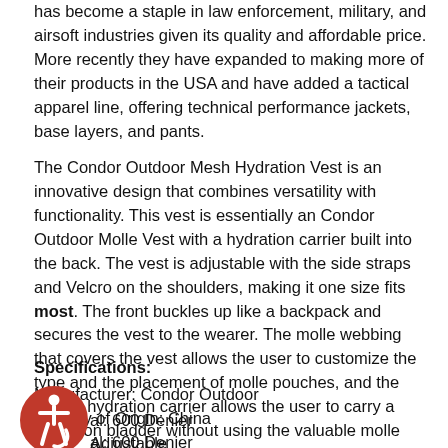has become a staple in law enforcement, military, and airsoft industries given its quality and affordable price. More recently they have expanded to making more of their products in the USA and have added a tactical apparel line, offering technical performance jackets, base layers, and pants.
The Condor Outdoor Mesh Hydration Vest is an innovative design that combines versatility with functionality. This vest is essentially an Condor Outdoor Molle Vest with a hydration carrier built into the back. The vest is adjustable with the side straps and Velcro on the shoulders, making it one size fits most. The front buckles up like a backpack and secures the vest to the wearer. The molle webbing that covers the vest allows the user to customize the type and the placement of molle pouches, and the built-in hydration carrier allows the user to carry a hydration bladder without using the valuable molle space on the back panel.
Specifications:
Manufacturer: Condor Outdoor
Country of Origin: China
al: 600 Denier
Adjustable
Weight: 2 lbs